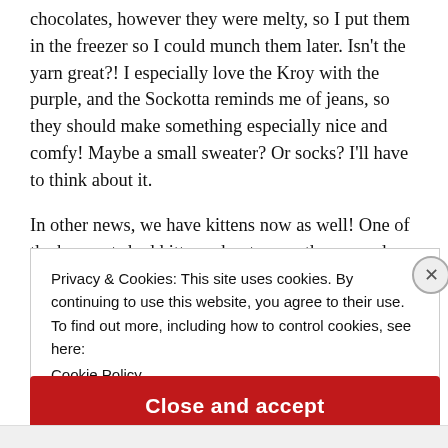chocolates, however they were melty, so I put them in the freezer so I could munch them later. Isn't the yarn great?! I especially love the Kroy with the purple, and the Sockotta reminds me of jeans, so they should make something especially nice and comfy! Maybe a small sweater? Or socks? I'll have to think about it.
In other news, we have kittens now as well! One of the barn cats had kittens about a month ago, and we found them this
Privacy & Cookies: This site uses cookies. By continuing to use this website, you agree to their use.
To find out more, including how to control cookies, see here:
Cookie Policy
Close and accept